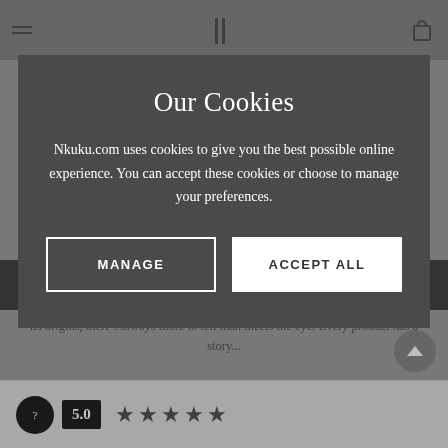[Figure (screenshot): Background website page showing a grayed-out product page with navigation bar at top, a dark band, partial body text, a rating section at the bottom, and a scroll-to-top button.]
Our Cookies
Nkuku.com uses cookies to give you the best possible online experience. You can accept these cookies or choose to manage your preferences.
MANAGE
ACCEPT ALL